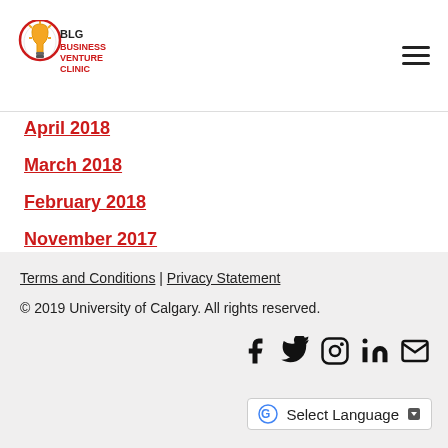[Figure (logo): BLG Business Venture Clinic logo — lightbulb icon with text]
April 2018
March 2018
February 2018
November 2017
October 2017
August 2017
Terms and Conditions | Privacy Statement
© 2019 University of Calgary. All rights reserved.